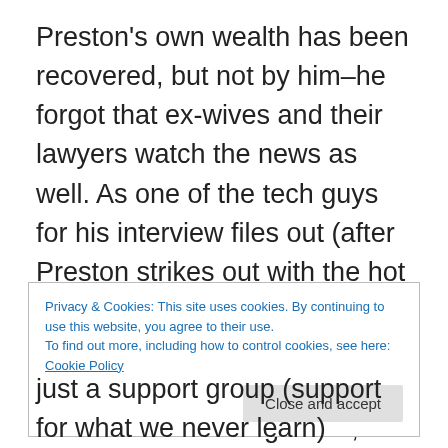Preston's own wealth has been recovered, but not by him–he forgot that ex-wives and their lawyers watch the news as well.  As one of the tech guys for his interview files out (after Preston strikes out with the hot newscaster), he tosses Preston a summons.  He got served.  In both senses.  And all that recovered swag of his, no longer in his direct possession (since it is now evidence), is going to get divvied up by the exes.  And to top off his day, Alan, the closest thing to a friend he had, walks out on him.  And so will I, because it's time to finish up.
Privacy & Cookies: This site uses cookies. By continuing to use this website, you agree to their use.
To find out more, including how to control cookies, see here: Cookie Policy
just a support group (support for what we never learn)